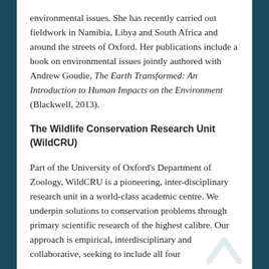environmental issues. She has recently carried out fieldwork in Namibia, Libya and South Africa and around the streets of Oxford. Her publications include a book on environmental issues jointly authored with Andrew Goudie, The Earth Transformed: An Introduction to Human Impacts on the Environment (Blackwell, 2013).
The Wildlife Conservation Research Unit (WildCRU)
Part of the University of Oxford's Department of Zoology, WildCRU is a pioneering, inter-disciplinary research unit in a world-class academic centre. We underpin solutions to conservation problems through primary scientific research of the highest calibre. Our approach is empirical, interdisciplinary and collaborative, seeking to include all four elements from "Conservation Quartet" and data...